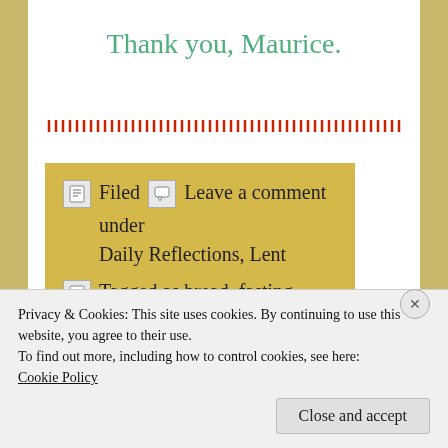Thank you, Maurice.
[Figure (other): Red decorative divider line made of small repeated vertical marks]
Filed  Leave a comment under
Daily Reflections, Lent
Tagged as bread, fasting, fellowship, Franciscan Missionary Sisters of Littlehampton, Lent, Little Flowers of Saint Francis,
Privacy & Cookies: This site uses cookies. By continuing to use this website, you agree to their use.
To find out more, including how to control cookies, see here:
Cookie Policy
Close and accept